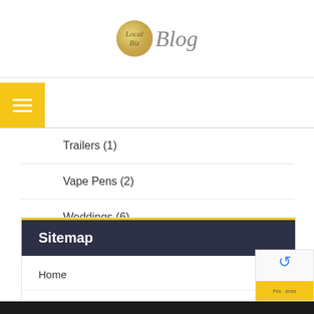LocalBiz Blog
Trailers (1)
Vape Pens (2)
Weddings (6)
Sitemap
Home
Various
Contact